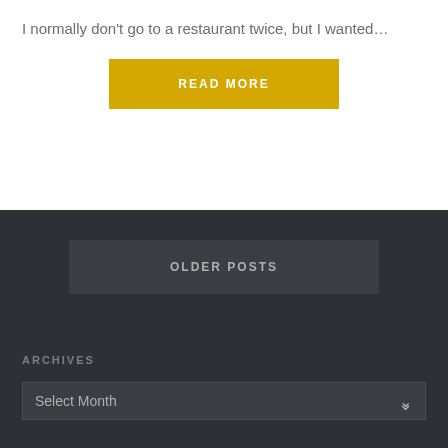I normally don't go to a restaurant twice, but I wanted…
READ MORE
OLDER POSTS
ARCHIVES
Select Month
CATEGORIES